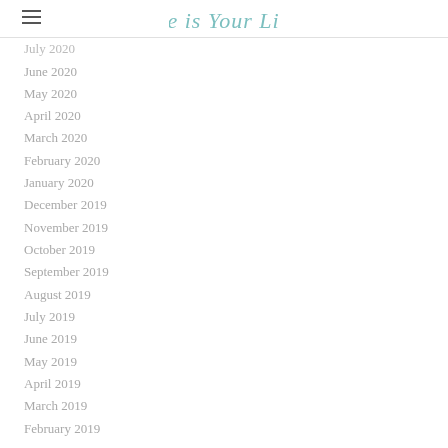He is Your Life
July 2020
June 2020
May 2020
April 2020
March 2020
February 2020
January 2020
December 2019
November 2019
October 2019
September 2019
August 2019
July 2019
June 2019
May 2019
April 2019
March 2019
February 2019